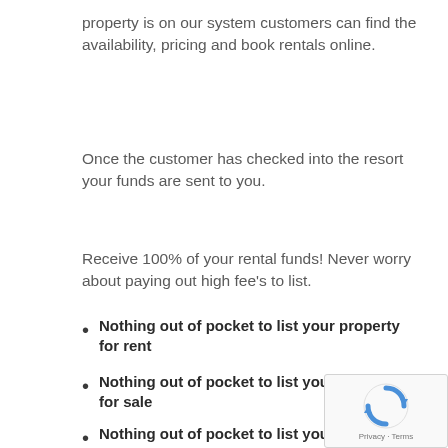property is on our system customers can find the availability, pricing and book rentals online.
Once the customer has checked into the resort your funds are sent to you.
Receive 100% of your rental funds! Never worry about paying out high fee's to list.
Nothing out of pocket to list your property for rent
Nothing out of pocket to list your property for sale
Nothing out of pocket to list your RV